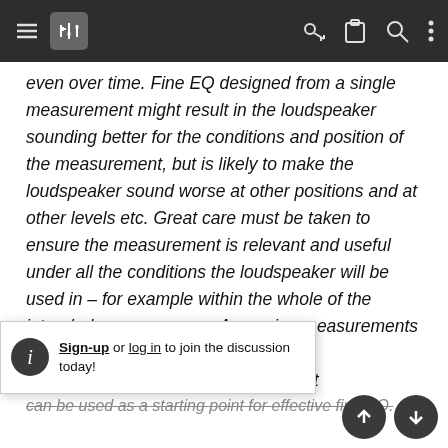[Navigation bar with menu, mixer, key, clipboard, search, and more icons]
even over time. Fine EQ designed from a single measurement might result in the loudspeaker sounding better for the conditions and position of the measurement, but is likely to make the loudspeaker sound worse at other positions and at other levels etc. Great care must be taken to ensure the measurement is relevant and useful under all the conditions the loudspeaker will be used in – for example within the whole of the intended coverage area. Averaging measurements from multiple [obscured] urement that can be used as a starting point for effective fine EQ.
Sign-up or log in to join the discussion today!